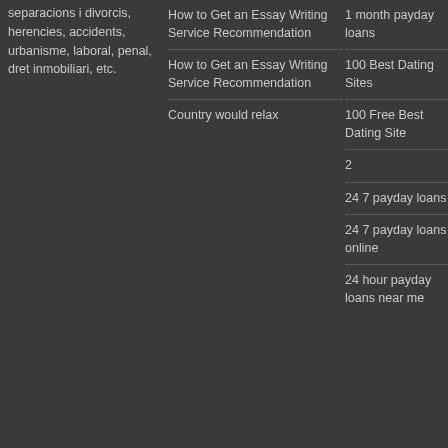separacions i divorcis, herencies, accidents, urbanisme, laboral, penal, dret inmobiliari, etc.
How to Get an Essay Writing Service Recommendation
How to Get an Essay Writing Service Recommendation
Country would relax
1 month payday loans
100 Best Dating Sites
100 Free Best Dating Site
2
24 7 payday loans
24 7 payday loans online
24 hour payday loans near me